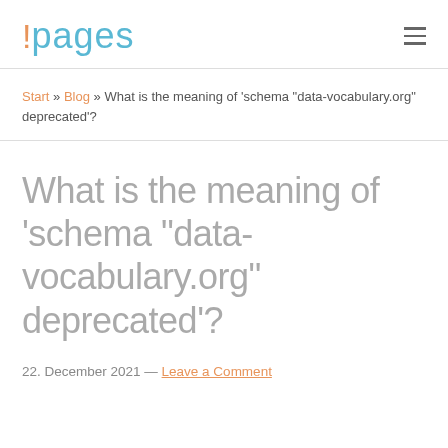!pages
Start » Blog » What is the meaning of 'schema "data-vocabulary.org" deprecated'?
What is the meaning of 'schema "data-vocabulary.org" deprecated'?
22. December 2021 — Leave a Comment